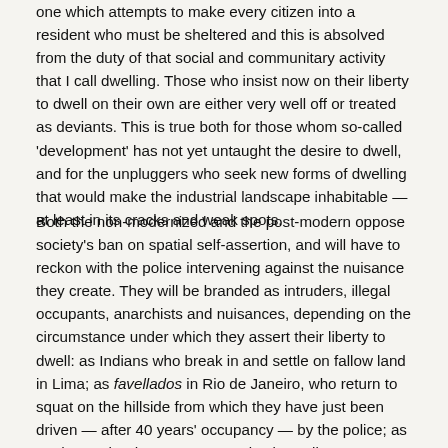one which attempts to make every citizen into a resident who must be sheltered and this is absolved from the duty of that social and communitary activity that I call dwelling. Those who insist now on their liberty to dwell on their own are either very well off or treated as deviants. This is true both for those whom so-called 'development' has not yet untaught the desire to dwell, and for the unpluggers who seek new forms of dwelling that would make the industrial landscape inhabitable — at least in its cracks and weak spots.
Both the non-modernized and the post-modern oppose society's ban on spatial self-assertion, and will have to reckon with the police intervening against the nuisance they create. They will be branded as intruders, illegal occupants, anarchists and nuisances, depending on the circumstance under which they assert their liberty to dwell: as Indians who break in and settle on fallow land in Lima; as favellados in Rio de Janeiro, who return to squat on the hillside from which they have just been driven — after 40 years' occupancy — by the police; as students who dare to convert ruins in Berlin's Kreuzberg into their dwellings, as Puerto Ricans who force their way back into